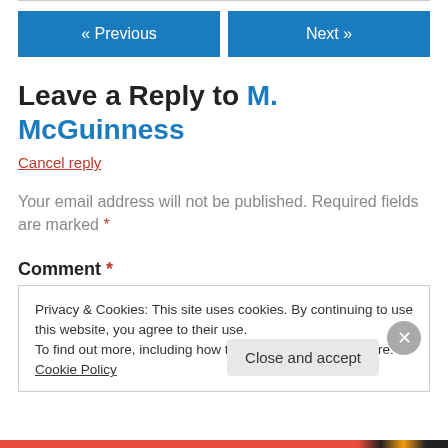[Figure (other): Navigation buttons: « Previous (blue) and Next » (blue)]
Leave a Reply to M. McGuinness
Cancel reply
Your email address will not be published. Required fields are marked *
Comment *
Privacy & Cookies: This site uses cookies. By continuing to use this website, you agree to their use. To find out more, including how to control cookies, see here: Cookie Policy
Close and accept